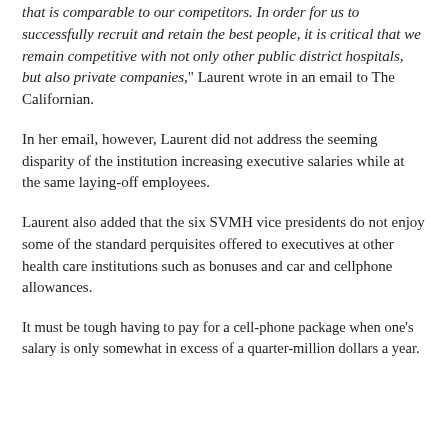that is comparable to our competitors. In order for us to successfully recruit and retain the best people, it is critical that we remain competitive with not only other public district hospitals, but also private companies," Laurent wrote in an email to The Californian.
In her email, however, Laurent did not address the seeming disparity of the institution increasing executive salaries while at the same laying-off employees.
Laurent also added that the six SVMH vice presidents do not enjoy some of the standard perquisites offered to executives at other health care institutions such as bonuses and car and cellphone allowances.
It must be tough having to pay for a cell-phone package when one's salary is only somewhat in excess of a quarter-million dollars a year.